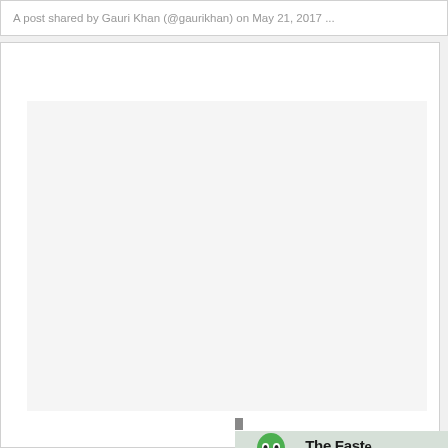A post shared by Gauri Khan (@gaurikhan) on May 21, 2017 ...
[Figure (other): Embedded Instagram post content area - large light gray placeholder box]
[Figure (other): Private Internet Access VPN advertisement overlay showing green ghost mascot logo and text 'The Faste' (truncated), 'VPN For All Of Your Device' (truncated), with tagline 'private internetaccess®']